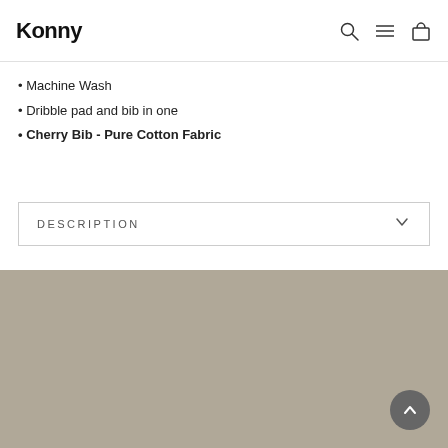Konny
Machine Wash
Dribble pad and bib in one
Cherry Bib - Pure Cotton Fabric
DESCRIPTION
[Figure (other): Solid taupe/khaki colored background block filling the lower portion of the page]